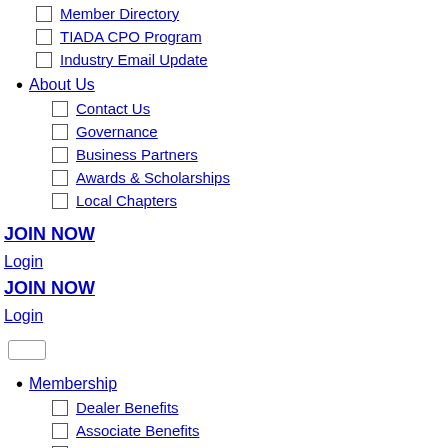Member Directory
TIADA CPO Program
Industry Email Update
About Us
Contact Us
Governance
Business Partners
Awards & Scholarships
Local Chapters
JOIN NOW
Login
JOIN NOW
Login
Membership
Dealer Benefits
Associate Benefits
Legal and Compliance
TIADA Auction App
Membership Savings Calculator
Education
Conference & Expo
DMV Required Courses
In-Person